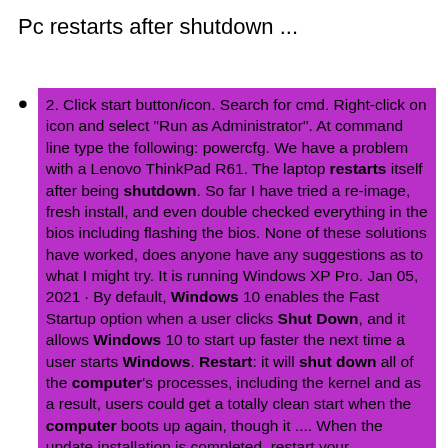Pc restarts after shutdown ...
2. Click start button/icon. Search for cmd. Right-click on icon and select "Run as Administrator". At command line type the following: powercfg. We have a problem with a Lenovo ThinkPad R61. The laptop restarts itself after being shutdown. So far I have tried a re-image, fresh install, and even double checked everything in the bios including flashing the bios. None of these solutions have worked, does anyone have any suggestions as to what I might try. It is running Windows XP Pro. Jan 05, 2021 · By default, Windows 10 enables the Fast Startup option when a user clicks Shut Down, and it allows Windows 10 to start up faster the next time a user starts Windows. Restart: it will shut down all of the computer's processes, including the kernel and as a result, users could get a totally clean start when the computer boots up again, though it .... When the update installation is completed, restart your computer. 5. After restart, try to connect to the Internet again. If your computer restarts again when connected to the Network/Internet, then proceed and uninstall the recently installed updates by following the instructions in Method-3 below. Method 3. Uninstall Recently Installed Updates. 3. I